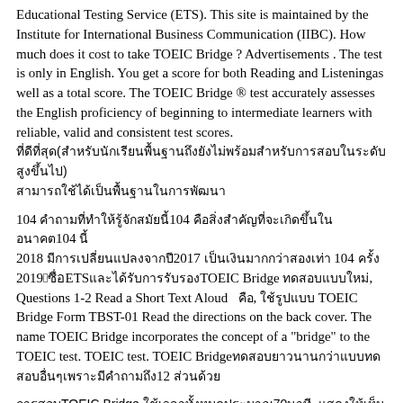Educational Testing Service (ETS). This site is maintained by the Institute for International Business Communication (IIBC). How much does it cost to take TOEIC Bridge ? Advertisements . The test is only in English. You get a score for both Reading and Listeningas well as a total score. The TOEIC Bridge ® test accurately assesses the English proficiency of beginning to intermediate learners with reliable, valid and consistent test scores. [Thai text](Thai text)
104 [Thai] 104 [Thai] 104 [Thai] 2018 [Thai] 2017 [Thai] 104 [Thai] 2019[6][ETS][Thai]TOEIC Bridge [Thai], Questions 1-2 Read a Short Text Aloud [Thai], [Thai] TOEIC Bridge Form TBST-01 Read the directions on the back cover. The name TOEIC Bridge incorporates the concept of a "bridge" to the TOEIC test. TOEIC test. TOEIC Bridge[Thai][Thai]12 [Thai]
[Thai text], [Thai text][Thai text].
TOEIC Bridge™: Reading Part 4 - Incomplete Sentences In part 4 of the TOEIC Bridge test you need to choose the best word or phrase to complete a sentence. People who need to know a some